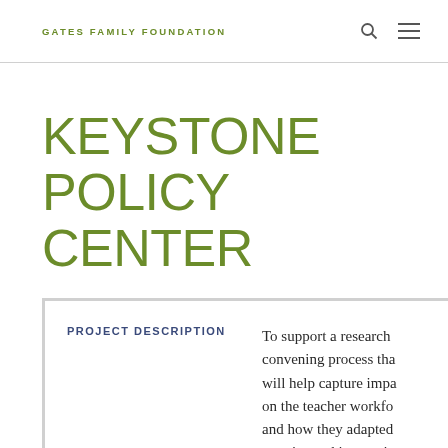GATES FAMILY FOUNDATION
KEYSTONE POLICY CENTER
PROJECT DESCRIPTION
To support a research convening process that will help capture impacts on the teacher workforce and how they adapted practice and instruction